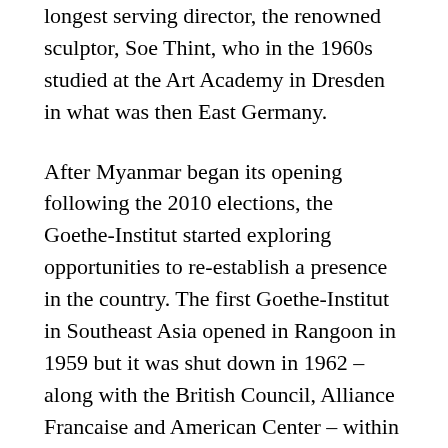longest serving director, the renowned sculptor, Soe Thint, who in the 1960s studied at the Art Academy in Dresden in what was then East Germany.
After Myanmar began its opening following the 2010 elections, the Goethe-Institut started exploring opportunities to re-establish a presence in the country. The first Goethe-Institut in Southeast Asia opened in Rangoon in 1959 but it was shut down in 1962 – along with the British Council, Alliance Francaise and American Center – within months of the putsch headed by General Ne Win.
During bilateral negotiations in 2012 for a cultural agreement, Germany was offered the use of the